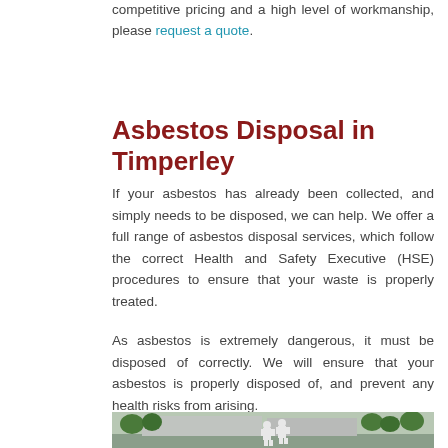competitive pricing and a high level of workmanship, please request a quote.
Asbestos Disposal in Timperley
If your asbestos has already been collected, and simply needs to be disposed, we can help. We offer a full range of asbestos disposal services, which follow the correct Health and Safety Executive (HSE) procedures to ensure that your waste is properly treated.
As asbestos is extremely dangerous, it must be disposed of correctly. We will ensure that your asbestos is properly disposed of, and prevent any health risks from arising.
[Figure (photo): Outdoor photo showing people in white protective suits near an industrial building with trees in the background.]